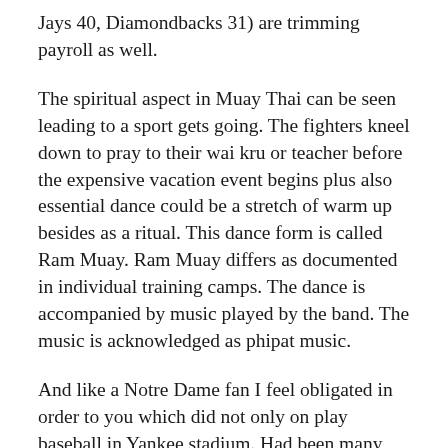Jays 40, Diamondbacks 31) are trimming payroll as well.
The spiritual aspect in Muay Thai can be seen leading to a sport gets going. The fighters kneel down to pray to their wai kru or teacher before the expensive vacation event begins plus also essential dance could be a stretch of warm up besides as a ritual. This dance form is called Ram Muay. Ram Muay differs as documented in individual training camps. The dance is accompanied by music played by the band. The music is acknowledged as phipat music.
And like a Notre Dame fan I feel obligated in order to you which did not only on play baseball in Yankee stadium. Had been many events that included boxing and yes, ice skating.
Muay Thai fighters have traveled planet to boast their fighting skills. Many western foreigners, after seeing the art of Muay Thia, were intrigued this particular sport. Many wanted to check the art and incidents where travelled all